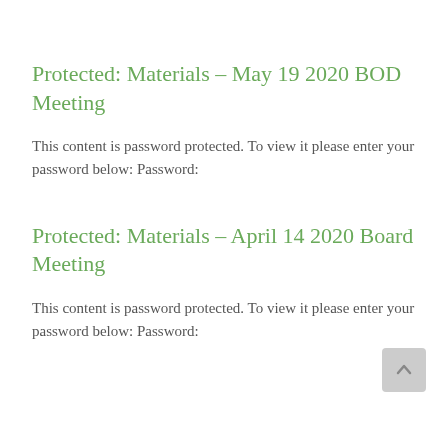Protected: Materials – May 19 2020 BOD Meeting
This content is password protected. To view it please enter your password below: Password:
Protected: Materials – April 14 2020 Board Meeting
This content is password protected. To view it please enter your password below: Password: